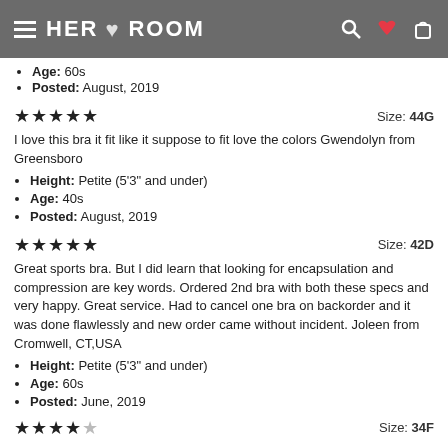HER ROOM
Age: 60s
Posted: August, 2019
★★★★★  Size: 44G
I love this bra it fit like it suppose to fit love the colors Gwendolyn from Greensboro
Height: Petite (5'3" and under)
Age: 40s
Posted: August, 2019
★★★★★  Size: 42D
Great sports bra. But I did learn that looking for encapsulation and compression are key words. Ordered 2nd bra with both these specs and very happy. Great service. Had to cancel one bra on backorder and it was done flawlessly and new order came without incident. Joleen from Cromwell, CT,USA
Height: Petite (5'3" and under)
Age: 60s
Posted: June, 2019
★★★★☆  Size: 34F